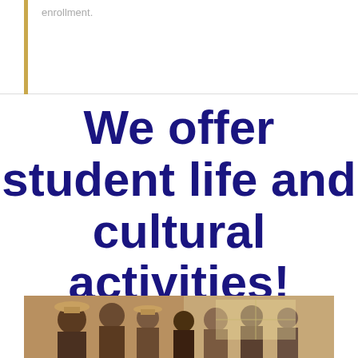enrollment.
We offer student life and cultural activities!
[Figure (photo): Group of students on what appears to be a bus or indoor trip/excursion, wearing hats and casual clothing]